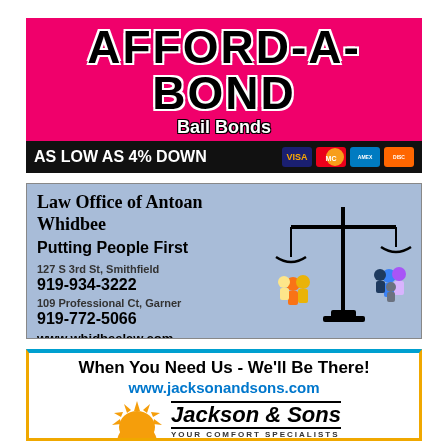[Figure (illustration): Afford-A-Bond Bail Bonds advertisement with pink/magenta background. Large text 'AFFORD-A-BOND', 'Bail Bonds', 'Get Free For A Low Fee!', contact info, and black bar with 'AS LOW AS 4% DOWN' and credit card logos.]
[Figure (illustration): Law Office of Antoan Whidbee advertisement on blue-gray background with scales of justice image, addresses for Smithfield and Garner, phone numbers, and website.]
[Figure (illustration): Jackson & Sons advertisement with orange border, tagline 'When You Need Us - We'll Be There!', website www.jacksonandsons.com, sun logo, and 'Jackson & Sons YOUR COMFORT SPECIALISTS' branding.]